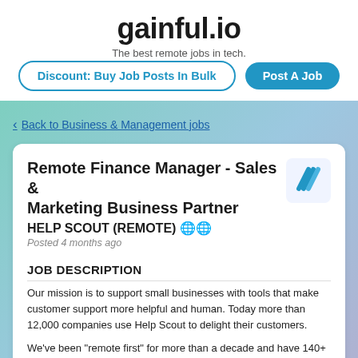gainful.io
The best remote jobs in tech.
Discount: Buy Job Posts In Bulk
Post A Job
< Back to Business & Management jobs
Remote Finance Manager - Sales & Marketing Business Partner
HELP SCOUT (REMOTE) 🌐🌐
Posted 4 months ago
JOB DESCRIPTION
Our mission is to support small businesses with tools that make customer support more helpful and human. Today more than 12,000 companies use Help Scout to delight their customers.
We've been "remote first" for more than a decade and have 140+ teammates